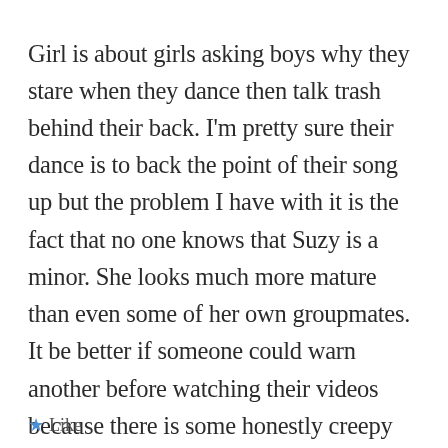Girl is about girls asking boys why they stare when they dance then talk trash behind their back. I'm pretty sure their dance is to back the point of their song up but the problem I have with it is the fact that no one knows that Suzy is a minor. She looks much more mature than even some of her own groupmates. It be better if someone could warn another before watching their videos because there is some honestly creepy stuff going on there talking solely about her – without even realizing what the group's singing about.
Like